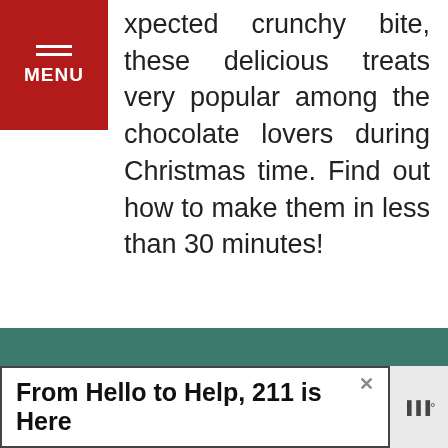MENU
xpected crunchy bite, these delicious treats very popular among the chocolate lovers during Christmas time. Find out how to make them in less than 30 minutes!
CONTINUE READING
[Figure (photo): A dessert in a glass with cream and toppings alongside biscuits, spoon in background]
WHAT'S NEXT → The easiest Chocolate a...
From Hello to Help, 211 is Here